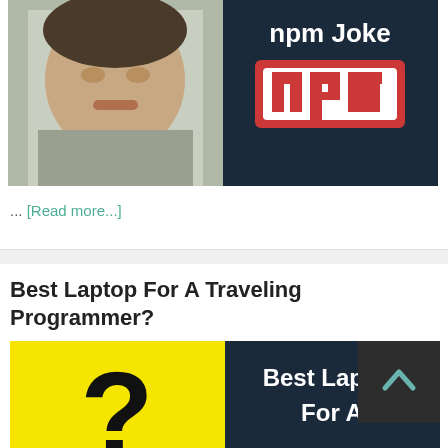[Figure (screenshot): Thumbnail image split: left side shows a man's face, right side shows dark navy background with 'npm Joke' text and the npm logo (red banner with white 'npm' text)]
... [Read more...]
Best Laptop For A Traveling Programmer?
[Figure (screenshot): Thumbnail image split: left side shows yellow background with large black question mark, right side shows dark navy background with 'Best Laptop For A' text in white bold font. Scroll-up button overlay in top right corner.]